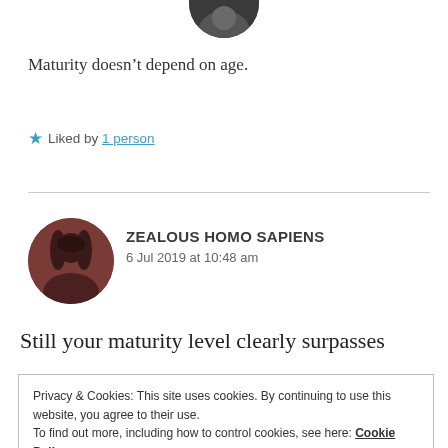[Figure (photo): Partial top of a circular avatar photo cropped at top of page]
Maturity doesn’t depend on age.
Liked by 1 person
[Figure (photo): Circular avatar photo of a person with dark hair, reddish-brown toned]
ZEALOUS HOMO SAPIENS
6 Jul 2019 at 10:48 am
Still your maturity level clearly surpasses
Privacy & Cookies: This site uses cookies. By continuing to use this website, you agree to their use.
To find out more, including how to control cookies, see here: Cookie Policy
Close and accept